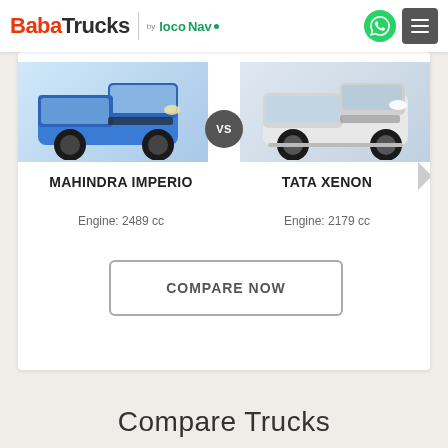BabaTrucks by LocoNav
[Figure (photo): Mahindra Imperio blue pickup truck image on the left side of comparison card]
[Figure (photo): Tata Xenon white pickup truck image on the right side of comparison card]
VS
MAHINDRA IMPERIO
TATA XENON
Engine: 2489 cc
Engine: 2179 cc
COMPARE NOW
Compare Trucks